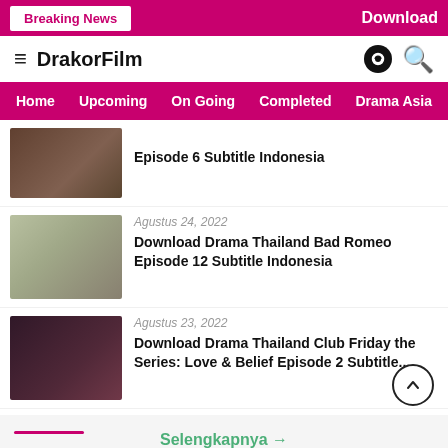Breaking News | Download
DrakorFilm
Home | Upcoming | On Going | Completed | Drama Asia | F...
Episode 6 Subtitle Indonesia
Agustus 24, 2022
Download Drama Thailand Bad Romeo Episode 12 Subtitle Indonesia
Agustus 23, 2022
Download Drama Thailand Club Friday the Series: Love & Belief Episode 2 Subtitle...
Selengkapnya →